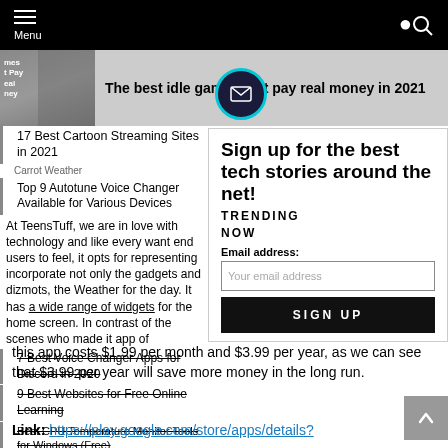Menu [hamburger icon] [search icon]
[Figure (screenshot): Thumbnail image of person holding phone with text overlay about idle games]
The best idle games that pay real money in 2021
[Figure (other): Email/newsletter signup modal overlay with title 'Sign up for the best tech stories around the net!', TRENDING NOW label, Email address field, and SIGN UP button]
17 Best Cartoon Streaming Sites in 2021
Carrot Weather
Top 9 Autotune Voice Changer Available for Various Devices
At TeensTuff, we are in love with technology and like every want end users to feel, it opts for representing incorporate not only the gadgets and dizmots, the Weather for the day. It has a wide range of widgets for the home screen. In contrast of the scenes who made it app of
7 Best Voice Changer Apps for Discord in 2020
9 Best Websites for Free Online Learning
Best CPU Temperature Monitor Tools for Windows (Free)
this app costs $1.99 per month and $3.99 per year, as we can see that $3.99 per year will save more money in the long run.
Link: https://play.google.com/store/apps/details?